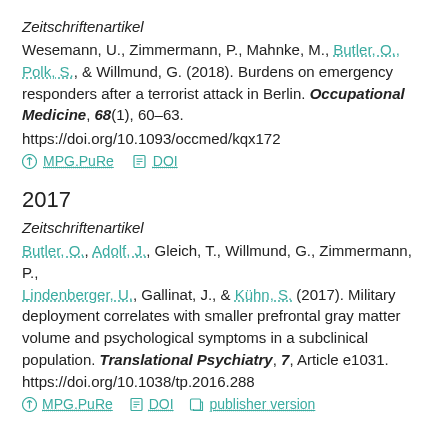Zeitschriftenartikel
Wesemann, U., Zimmermann, P., Mahnke, M., Butler, O., Polk, S., & Willmund, G. (2018). Burdens on emergency responders after a terrorist attack in Berlin. Occupational Medicine, 68(1), 60–63. https://doi.org/10.1093/occmed/kqx172
MPG.PuRe   DOI
2017
Zeitschriftenartikel
Butler, O., Adolf, J., Gleich, T., Willmund, G., Zimmermann, P., Lindenberger, U., Gallinat, J., & Kühn, S. (2017). Military deployment correlates with smaller prefrontal gray matter volume and psychological symptoms in a subclinical population. Translational Psychiatry, 7, Article e1031. https://doi.org/10.1038/tp.2016.288
MPG.PuRe   DOI   publisher version